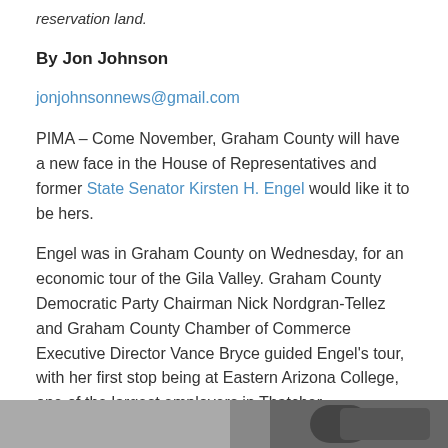reservation land.
By Jon Johnson
jonjohnsonnews@gmail.com
PIMA – Come November, Graham County will have a new face in the House of Representatives and former State Senator Kirsten H. Engel would like it to be hers.
Engel was in Graham County on Wednesday, for an economic tour of the Gila Valley. Graham County Democratic Party Chairman Nick Nordgran-Tellez and Graham County Chamber of Commerce Executive Director Vance Bryce guided Engel's tour, with her first stop being at Eastern Arizona College, one of the largest employers in Thatcher.
[Figure (photo): Partial photo visible at bottom of page]